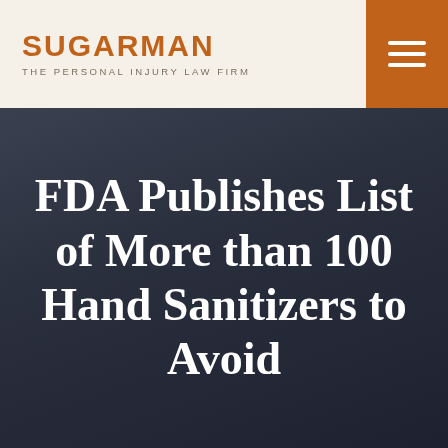SUGARMAN THE PERSONAL INJURY LAW FIRM
FDA Publishes List of More than 100 Hand Sanitizers to Avoid